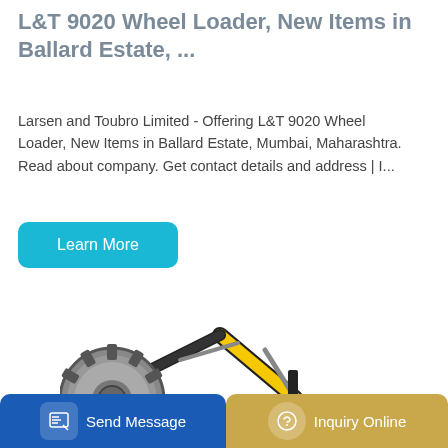L&T 9020 Wheel Loader, New Items in Ballard Estate, ...
Larsen and Toubro Limited - Offering L&T 9020 Wheel Loader, New Items in Ballard Estate, Mumbai, Maharashtra. Read about company. Get contact details and address | I...
[Figure (illustration): Yellow XCMG excavator/hydraulic shovel with large bucket attachment on tracked undercarriage, shown on white background]
Send Message
Inquiry Online